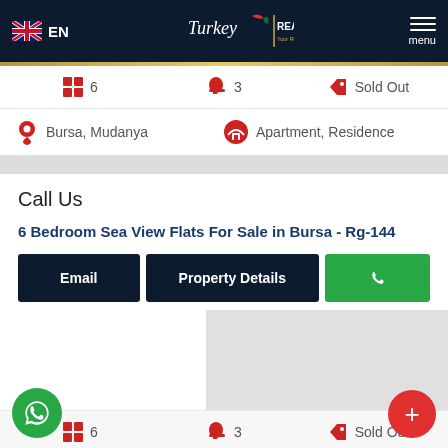EN | Turkey Realty Group | Your Real Estate Expert | menu
6  3  Sold Out
Bursa, Mudanya  Apartment, Residence
Call Us
6 Bedroom Sea View Flats For Sale in Bursa - Rg-144
Email  Property Details  [WhatsApp]
[Figure (screenshot): Map area placeholder (gray)]
6  3  Sold Out
Bursa, Mudanya  Apartment, Residence